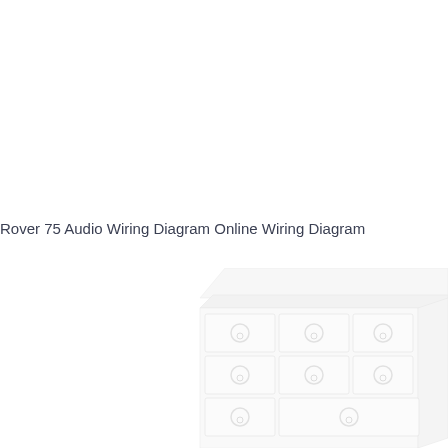Rover 75 Audio Wiring Diagram Online Wiring Diagram
[Figure (illustration): A blurred/faded illustration of a white chest of drawers (furniture) with multiple drawers each having circular ring pulls, viewed at a slight angle from above. The image appears as a watermark-style background image in very light gray tones.]